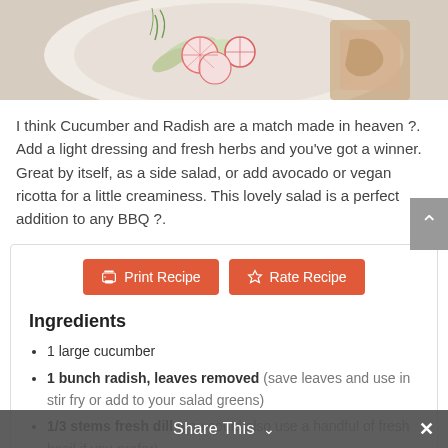[Figure (photo): Top portion of a food photo showing a plate with sliced cucumber and radish salad with herbs, viewed from above.]
I think Cucumber and Radish are a match made in heaven ?. Add a light dressing and fresh herbs and you've got a winner. Great by itself, as a side salad, or add avocado or vegan ricotta for a little creaminess. This lovely salad is a perfect addition to any BBQ ?.
1 large cucumber
1 bunch radish, leaves removed (save leaves and use in stir fry or add to your salad greens)
1/3 stems fresh dill (you could also use a handful of fresh basil if you prefer)
1/3 cup rice vinegar
2 tbsp maple syrup
Instructions
Slice the cucumber as thinly as possible (I used a mandolin but you can also use a paring knife). Layer slices in a